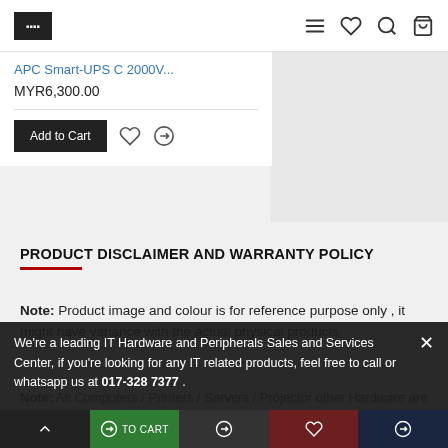Header with logo and navigation icons
APC Smart-UPS C 2000V...
MYR6,300.00
Add to Cart
PRODUCT DISCLAIMER AND WARRANTY POLICY
Note: Product image and colour is for reference purpose only , it might have variance with the actual physical products.
We're a leading IT Hardware and Peripherals Sales and Services Center, if you're looking for any IT related products, feel free to call or whatsapp us at 017-328 7377 .